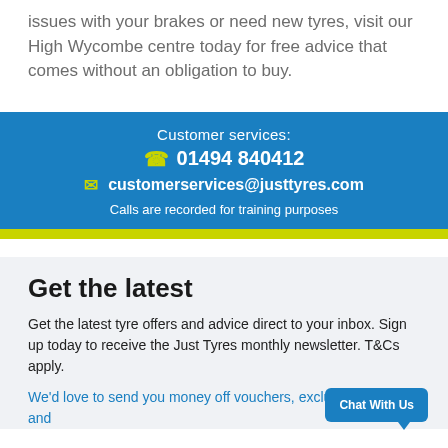issues with your brakes or need new tyres, visit our High Wycombe centre today for free advice that comes without an obligation to buy.
Customer services:
☎ 01494 840412
✉ customerservices@justtyres.com
Calls are recorded for training purposes
Get the latest
Get the latest tyre offers and advice direct to your inbox. Sign up today to receive the Just Tyres monthly newsletter. T&Cs apply.
We'd love to send you money off vouchers, exclusive offers and